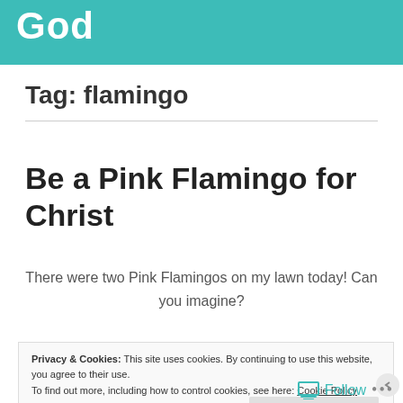God
Tag: flamingo
Be a Pink Flamingo for Christ
There were two Pink Flamingos on my lawn today! Can you imagine?
Privacy & Cookies: This site uses cookies. By continuing to use this website, you agree to their use. To find out more, including how to control cookies, see here: Cookie Policy
Close and accept
Follow